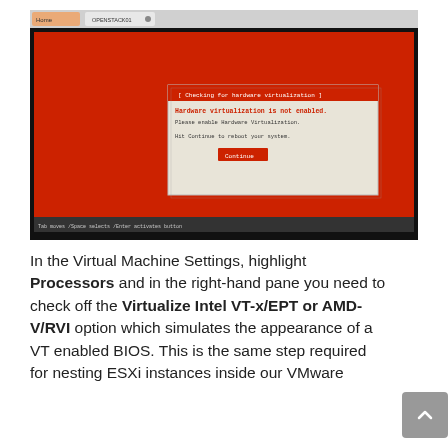[Figure (screenshot): Screenshot of a virtual machine console showing a red background with a dialog box indicating 'Hardware Virtualization is not enabled. Please enable Hardware Virtualization. Hit Continue to reboot your system.' with a Continue button. A browser tab bar is visible at the top.]
In the Virtual Machine Settings, highlight Processors and in the right-hand pane you need to check off the Virtualize Intel VT-x/EPT or AMD-V/RVI option which simulates the appearance of a VT enabled BIOS. This is the same step required for nesting ESXi instances inside our VMware